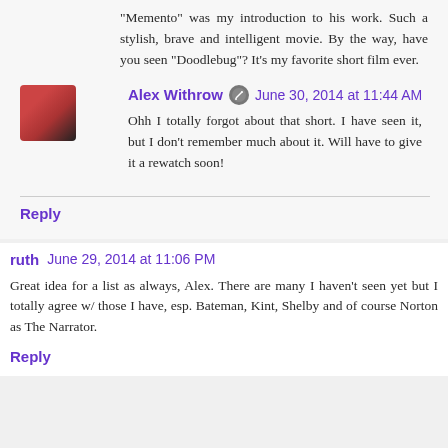"Memento" was my introduction to his work. Such a stylish, brave and intelligent movie. By the way, have you seen "Doodlebug"? It's my favorite short film ever.
Alex Withrow  June 30, 2014 at 11:44 AM
Ohh I totally forgot about that short. I have seen it, but I don't remember much about it. Will have to give it a rewatch soon!
Reply
ruth  June 29, 2014 at 11:06 PM
Great idea for a list as always, Alex. There are many I haven't seen yet but I totally agree w/ those I have, esp. Bateman, Kint, Shelby and of course Norton as The Narrator.
Reply